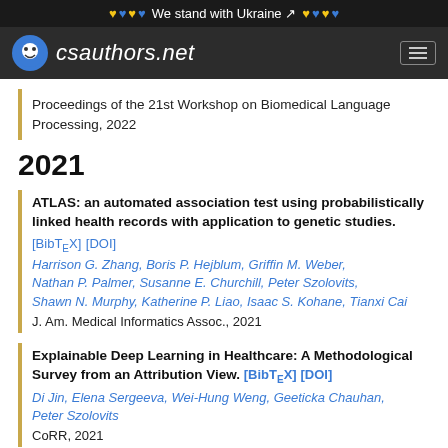We stand with Ukraine — csauthors.net
Proceedings of the 21st Workshop on Biomedical Language Processing, 2022
2021
ATLAS: an automated association test using probabilistically linked health records with application to genetic studies. [BibTeX] [DOI]
Harrison G. Zhang, Boris P. Hejblum, Griffin M. Weber, Nathan P. Palmer, Susanne E. Churchill, Peter Szolovits, Shawn N. Murphy, Katherine P. Liao, Isaac S. Kohane, Tianxi Cai
J. Am. Medical Informatics Assoc., 2021
Explainable Deep Learning in Healthcare: A Methodological Survey from an Attribution View. [BibTeX] [DOI]
Di Jin, Elena Sergeeva, Wei-Hung Weng, Geeticka Chauhan, Peter Szolovits
CoRR, 2021